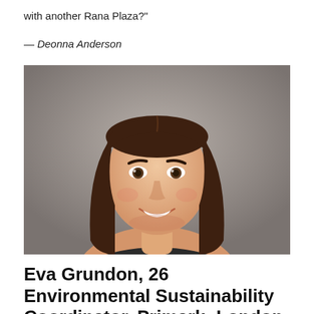with another Rana Plaza?"
— Deonna Anderson
[Figure (photo): Headshot of a young woman with long brown hair, smiling, against a grey background.]
Eva Grundon, 26 Environmental Sustainability Coordinator, Primark; London